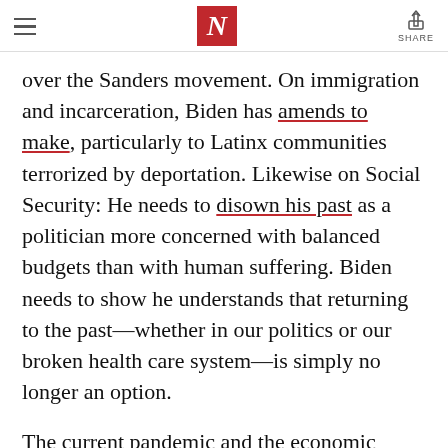N [The Nation logo] SHARE
over the Sanders movement. On immigration and incarceration, Biden has amends to make, particularly to Latinx communities terrorized by deportation. Likewise on Social Security: He needs to disown his past as a politician more concerned with balanced budgets than with human suffering. Biden needs to show he understands that returning to the past—whether in our politics or our broken health care system—is simply no longer an option.
The current pandemic and the economic collapse it has triggered provide perfect cover